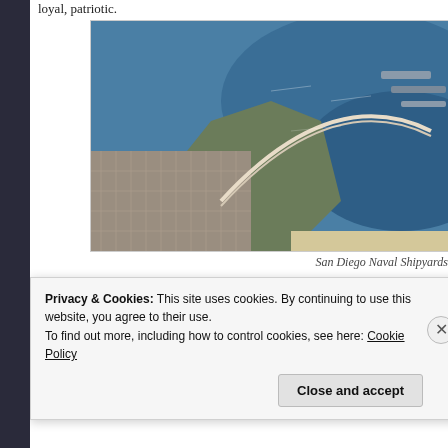loyal, patriotic.
[Figure (photo): Aerial photograph of San Diego Naval Shipyards showing the bay, a curved bridge, urban neighborhoods, and waterfront with ships.]
San Diego Naval Shipyards
Many other visits to other places in the States.  I see I left out Louisiana, Memphis. Tennessee too.  Other Florida cities.  Other Texas cities.  Hoo
Privacy & Cookies: This site uses cookies. By continuing to use this website, you agree to their use.
To find out more, including how to control cookies, see here: Cookie Policy